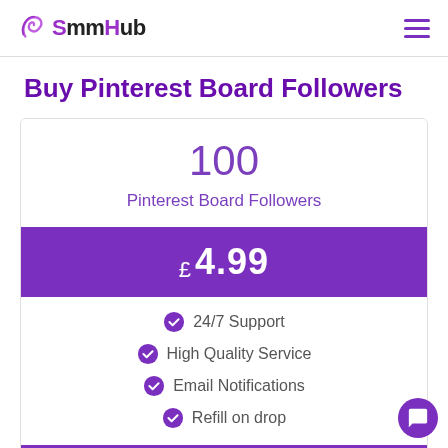SmmHub
Buy Pinterest Board Followers
100
Pinterest Board Followers
£ 4.99
24/7 Support
High Quality Service
Email Notifications
Refill on drop
Buy Now